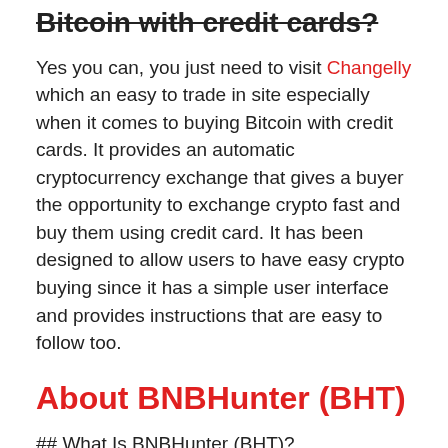Bitcoin with credit cards?
Yes you can, you just need to visit Changelly which an easy to trade in site especially when it comes to buying Bitcoin with credit cards. It provides an automatic cryptocurrency exchange that gives a buyer the opportunity to exchange crypto fast and buy them using credit card. It has been designed to allow users to have easy crypto buying since it has a simple user interface and provides instructions that are easy to follow too.
About BNBHunter (BHT)
## What Is BNBHunter (BHT)?
BNBHunter is a MMORPG game with NFT